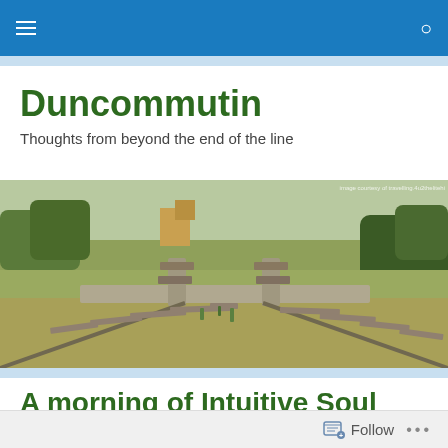Navigation bar with menu and search icons
Duncommutin
Thoughts from beyond the end of the line
[Figure (photo): Photograph of abandoned railway tracks ending at a concrete buffer stop, surrounded by dry grass and trees. Small watermark text in top right: 'image courtesy of travelling.4u2thelitehi']
A morning of Intuitive Soul Whispering
Follow  •••